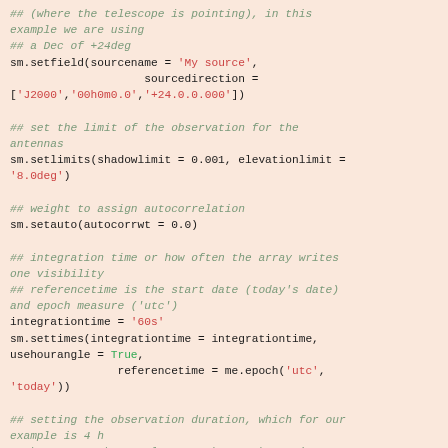## (where the telescope is pointing), in this example we are using
## a Dec of +24deg
sm.setfield(sourcename = 'My source',
                    sourcedirection =
['J2000','00h0m0.0','+24.0.0.000'])

## set the limit of the observation for the antennas
sm.setlimits(shadowlimit = 0.001, elevationlimit =
'8.0deg')

## weight to assign autocorrelation
sm.setauto(autocorrwt = 0.0)

## integration time or how often the array writes one visibility
## referencetime is the start date (today's date) and epoch measure ('utc')
integrationtime = '60s'
sm.settimes(integrationtime = integrationtime,
usehourangle = True,
                referencetime = me.epoch('utc',
'today'))

## setting the observation duration, which for our example is 4 h
## because usehourangle=True above, these times are relative to HA=0
starttime = '-2h'
stoptime = '2h'
sm.observe('My source', 'Band6', starttime =
starttime, starttime, starttime)